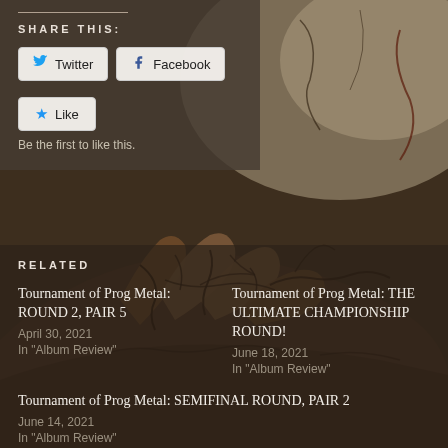[Figure (illustration): Dark background illustration of entwined hands/fingers with cracked dark veins/lines on aged brown textured surface]
SHARE THIS:
Twitter | Facebook
Like
Be the first to like this.
RELATED
Tournament of Prog Metal: ROUND 2, PAIR 5
April 30, 2021
In "Album Review"
Tournament of Prog Metal: THE ULTIMATE CHAMPIONSHIP ROUND!
June 18, 2021
In "Album Review"
Tournament of Prog Metal: SEMIFINAL ROUND, PAIR 2
June 14, 2021
In "Album Review"